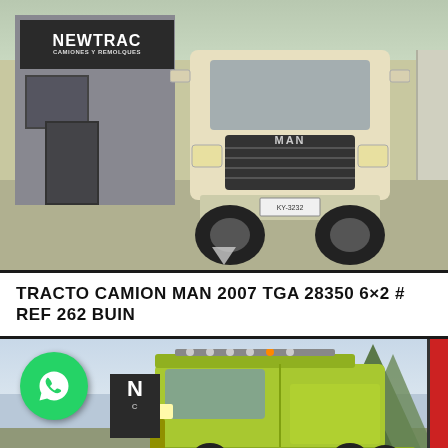[Figure (photo): Front-facing view of a cream/white MAN TGA truck parked in a dealer lot with 'Newtrac Camiones y Remolques' signage visible on the building to the left. The truck shows the MAN logo on its grille.]
TRACTO CAMION MAN 2007 TGA 28350 6×2 # REF 262 BUIN
[Figure (photo): Side/front-angle view of a lime green/yellow MAN truck with roof-mounted lights, parked at a dealer lot. A WhatsApp icon is overlaid in the lower-left corner of the image. Newtrac dealer signage is partially visible in the background.]